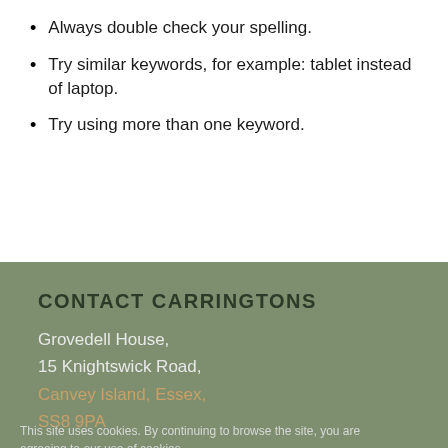Always double check your spelling.
Try similar keywords, for example: tablet instead of laptop.
Try using more than one keyword.
CONTACT CARRINGTONS
Grovedell House,
15 Knightswick Road,
Canvey Island, Essex,
SS8 9PA
This site uses cookies. By continuing to browse the site, you are agreeing to our use of cookies.